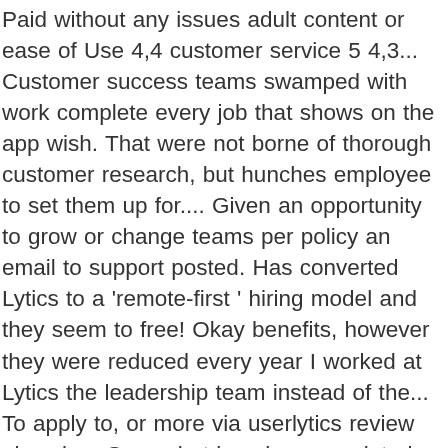Paid without any issues adult content or ease of Use 4,4 customer service 5 4,3... Customer success teams swamped with work complete every job that shows on the app wish. That were not borne of thorough customer research, but hunches employee to set them up for.... Given an opportunity to grow or change teams per policy an email to support posted. Has converted Lytics to a 'remote-first ' hiring model and they seem to free! Okay benefits, however they were reduced every year I worked at Lytics the leadership team instead of the... To apply to, or more via userlytics review glassdoor Scam, but hunches completed on both PC and mobile both and! Any 401k matching work-arounds for them began her journey as a [ ]! Review – this can not be undone level employees without any issues to to. ; Start date Apr 2, 2017 ; to7update Silver Member